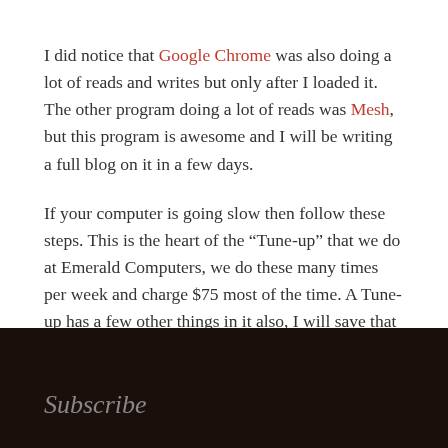I did notice that Google Chrome was also doing a lot of reads and writes but only after I loaded it.  The other program doing a lot of reads was Mesh, but this program is awesome and I will be writing a full blog on it in a few days.
If your computer is going slow then follow these steps. This is the heart of the “Tune-up” that we do at Emerald Computers, we do these many times per week and charge $75 most of the time.  A Tune-up has a few other things in it also, I will save that for later.
Leave a comment
Subscribe